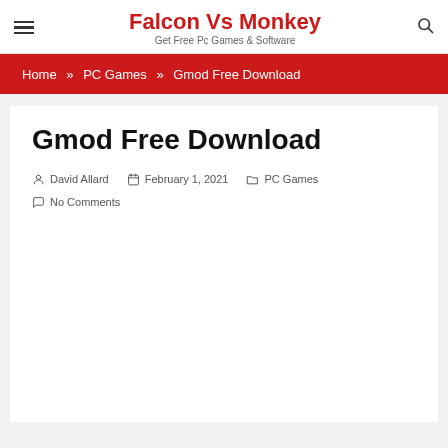Falcon Vs Monkey — Get Free Pc Games & Software
Home » PC Games » Gmod Free Download
Gmod Free Download
David Allard   February 1, 2021   PC Games   No Comments